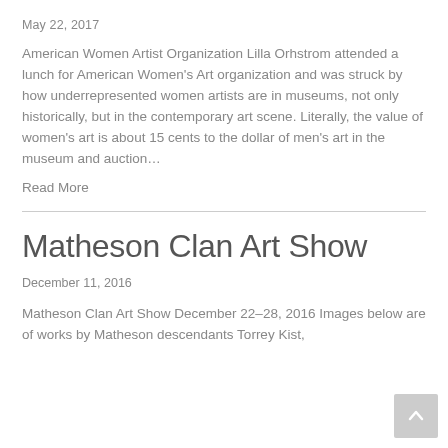May 22, 2017
American Women Artist Organization Lilla Orhstrom attended a lunch for American Women's Art organization and was struck by how underrepresented women artists are in museums, not only historically, but in the contemporary art scene. Literally, the value of women's art is about 15 cents to the dollar of men's art in the museum and auction…
Read More
Matheson Clan Art Show
December 11, 2016
Matheson Clan Art Show December 22–28, 2016 Images below are of works by Matheson descendants Torrey Kist,